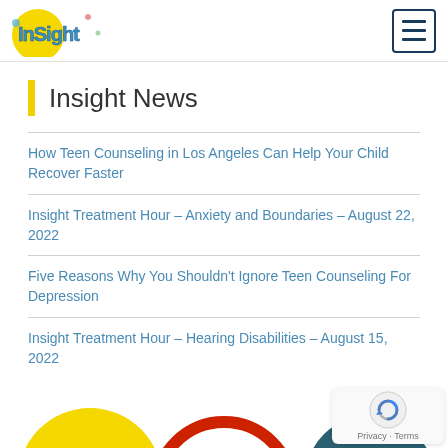Insight News - website header with logo and hamburger menu
Insight News
How Teen Counseling in Los Angeles Can Help Your Child Recover Faster
Insight Treatment Hour – Anxiety and Boundaries – August 22, 2022
Five Reasons Why You Shouldn't Ignore Teen Counseling For Depression
Insight Treatment Hour – Hearing Disabilities – August 15, 2022
Less-Known Benefits Of Teenage Rehab Centers In California
[Figure (illustration): Partial bottom illustration showing colorful circular shapes (yellow, red, teal) peeking from the bottom edge of the page]